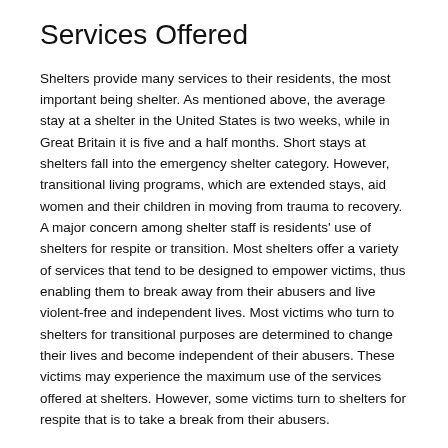Services Offered
Shelters provide many services to their residents, the most important being shelter. As mentioned above, the average stay at a shelter in the United States is two weeks, while in Great Britain it is five and a half months. Short stays at shelters fall into the emergency shelter category. However, transitional living programs, which are extended stays, aid women and their children in moving from trauma to recovery. A major concern among shelter staff is residents' use of shelters for respite or transition. Most shelters offer a variety of services that tend to be designed to empower victims, thus enabling them to break away from their abusers and live violent-free and independent lives. Most victims who turn to shelters for transitional purposes are determined to change their lives and become independent of their abusers. These victims may experience the maximum use of the services offered at shelters. However, some victims turn to shelters for respite that is to take a break from their abusers.